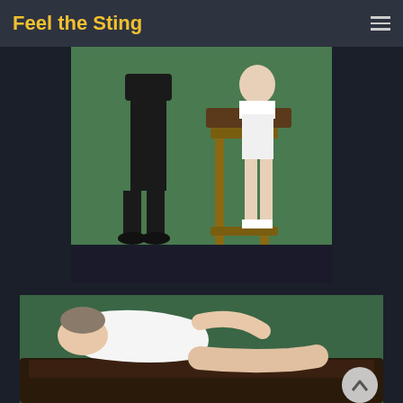Feel the Sting
[Figure (photo): Two figures in a green-walled room, one in black clothing standing, one bent over a wooden trestle wearing white shorts]
[Figure (photo): A person in a white tank top bent over a dark leather bench in a green-walled room]